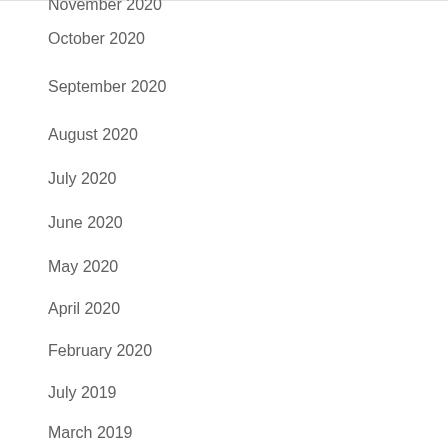November 2020
October 2020
September 2020
August 2020
July 2020
June 2020
May 2020
April 2020
February 2020
July 2019
March 2019
CATEGORIES
NJPW